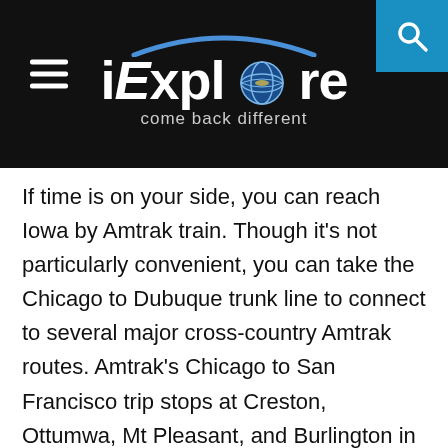iExplore — come back different
If time is on your side, you can reach Iowa by Amtrak train. Though it's not particularly convenient, you can take the Chicago to Dubuque trunk line to connect to several major cross-country Amtrak routes. Amtrak's Chicago to San Francisco trip stops at Creston, Ottumwa, Mt Pleasant, and Burlington in the southeast corner of the state.
Des Moines, Iowa City, Dubuque, and a couple of other large cities have public bus systems that cover most of their territory. While certainly good value, the public bus is not particularly useful for tourists unless you are staying in a hotel right downtown. Those